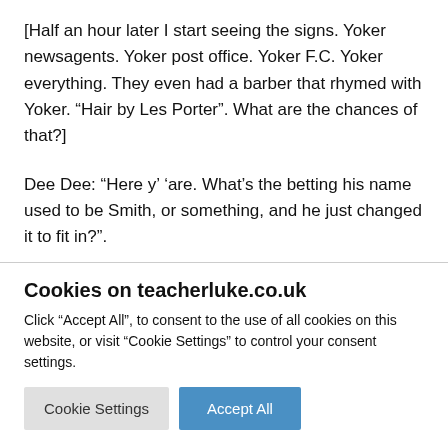[Half an hour later I start seeing the signs. Yoker newsagents. Yoker post office. Yoker F.C. Yoker everything. They even had a barber that rhymed with Yoker. “Hair by Les Porter”. What are the chances of that?]
Dee Dee: “Here y’ ‘are. What’s the betting his name used to be Smith, or something, and he just changed it to fit in?”.
Yoker Passenger: “What?”
[Gets to the terminus. Everybody starts piling off. I hit the driver
Cookies on teacherluke.co.uk
Click “Accept All”, to consent to the use of all cookies on this website, or visit “Cookie Settings” to control your consent settings.